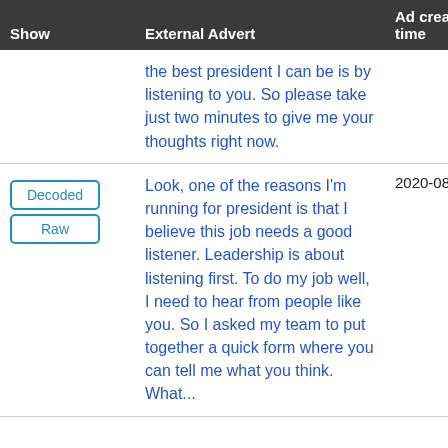| Show | External Advert | Ad creation time |
| --- | --- | --- |
|  | the best president I can be is by listening to you. So please take just two minutes to give me your thoughts right now. |  |
| Decoded / Raw | Look, one of the reasons I'm running for president is that I believe this job needs a good listener. Leadership is about listening first. To do my job well, I need to hear from people like you. So I asked my team to put together a quick form where you can tell me what you think. What... | 2020-08-29 20:43:45 UTC |